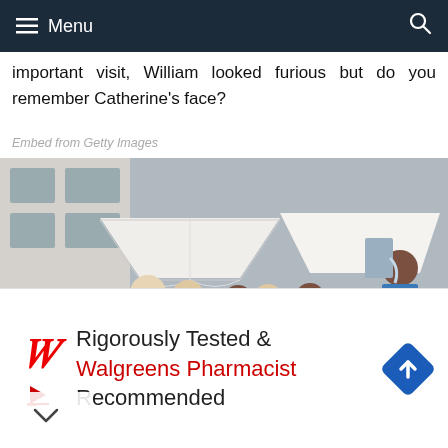Menu
important visit, William looked furious but do you remember Catherine's face?
Embed from Getty Images
[Figure (photo): Photo of Catherine and William with other people at an outdoor event with white marquee tents, a man pouring liquid on the right side.]
Rigorously Tested & Walgreens Pharmacist Recommended